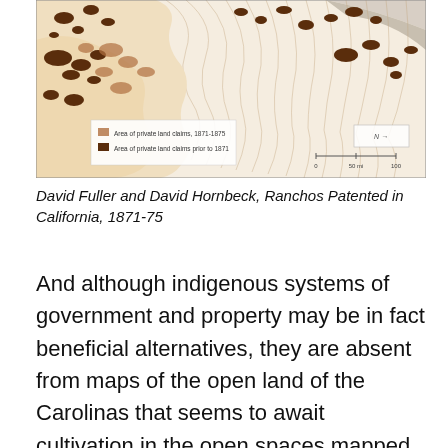[Figure (map): Historical map showing Ranchos Patented in California, 1871-75. Map depicts coastal California with beige land areas, brown topographic contour lines inland, and dark brown irregular patches indicating areas of private land claims. Legend shows two entries: 'Area of private land claims, 1871-1875' (light brown) and 'Area of private land claims prior to 1871' (dark brown). A scale bar and north arrow are visible.]
David Fuller and David Hornbeck, Ranchos Patented in California, 1871-75
And although indigenous systems of government and property may be in fact beneficial alternatives, they are absent from maps of the open land of the Carolinas that seems to await cultivation in the open spaces mapped in Blaue atlases as inviting canvasses without any stable or fixed property lines.